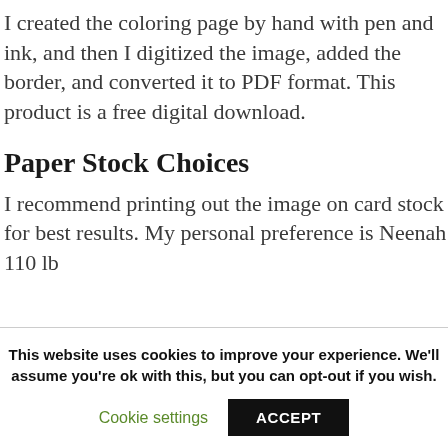I created the coloring page by hand with pen and ink, and then I digitized the image, added the border, and converted it to PDF format. This product is a free digital download.
Paper Stock Choices
I recommend printing out the image on card stock for best results. My personal preference is Neenah 110 lb
This website uses cookies to improve your experience. We'll assume you're ok with this, but you can opt-out if you wish.
Cookie settings  ACCEPT